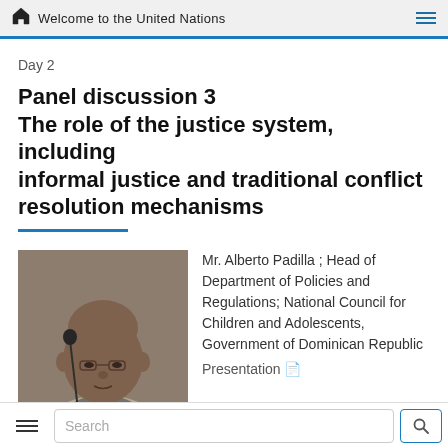Welcome to the United Nations
Day 2
Panel discussion 3
The role of the justice system, including informal justice and traditional conflict resolution mechanisms
[Figure (photo): Photo of Mr. Alberto Padilla, a bald man wearing glasses and a light-colored blazer, seated at a microphone.]
Mr. Alberto Padilla ; Head of Department of Policies and Regulations; National Council for Children and Adolescents, Government of Dominican Republic
Presentation